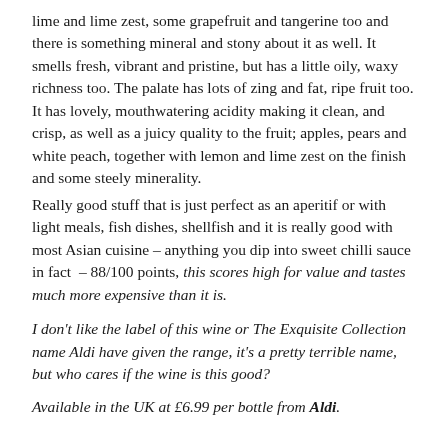lime and lime zest, some grapefruit and tangerine too and there is something mineral and stony about it as well. It smells fresh, vibrant and pristine, but has a little oily, waxy richness too. The palate has lots of zing and fat, ripe fruit too. It has lovely, mouthwatering acidity making it clean, and crisp, as well as a juicy quality to the fruit; apples, pears and white peach, together with lemon and lime zest on the finish and some steely minerality.
Really good stuff that is just perfect as an aperitif or with light meals, fish dishes, shellfish and it is really good with most Asian cuisine – anything you dip into sweet chilli sauce in fact – 88/100 points, this scores high for value and tastes much more expensive than it is.
I don't like the label of this wine or The Exquisite Collection name Aldi have given the range, it's a pretty terrible name, but who cares if the wine is this good?
Available in the UK at £6.99 per bottle from Aldi.